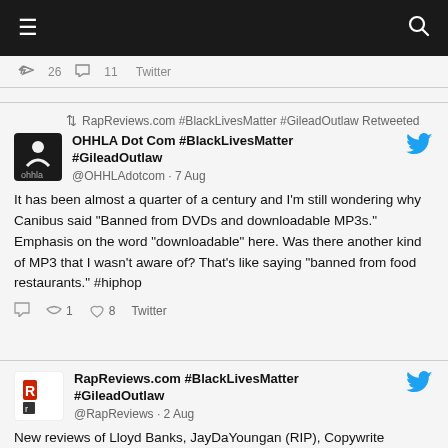≡  🔍
Twitter (partial action row)
↺ RapReviews.com #BlackLivesMatter #GileadOutlaw Retweeted
OHHLA Dot Com #BlackLivesMatter #GileadOutlaw
@OHHLAdotcom · 7 Aug
It has been almost a quarter of a century and I'm still wondering why Canibus said "Banned from DVDs and downloadable MP3s." Emphasis on the word "downloadable" here. Was there another kind of MP3 that I wasn't aware of? That's like saying "banned from food restaurants." #hiphop
↺ 1  ♡ 8  Twitter
RapReviews.com #BlackLivesMatter #GileadOutlaw
@RapReviews · 2 Aug
New reviews of Lloyd Banks, JayDaYoungan (RIP), Copywrite http://www.rapreviews.com/ Jack Harlow and